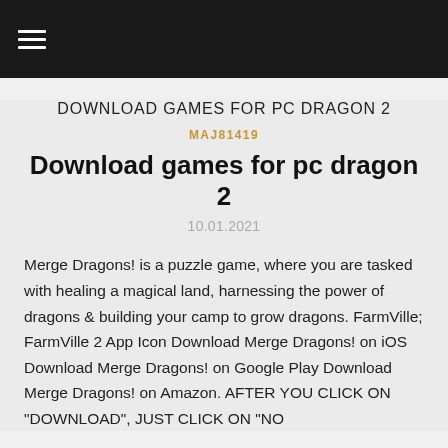☰ (hamburger menu)
DOWNLOAD GAMES FOR PC DRAGON 2
MAJ81419
Download games for pc dragon 2
10.01.2021
Merge Dragons! is a puzzle game, where you are tasked with healing a magical land, harnessing the power of dragons & building your camp to grow dragons. FarmVille; FarmVille 2 App Icon Download Merge Dragons! on iOS Download Merge Dragons! on Google Play Download Merge Dragons! on Amazon. AFTER YOU CLICK ON "DOWNLOAD", JUST CLICK ON "NO